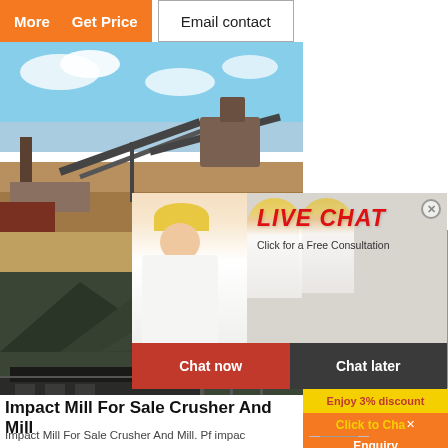More
Get Price
Email contact
[Figure (photo): Outdoor mining/quarry site with heavy equipment and conveyor belts under a blue sky]
[Figure (photo): Live chat popup with workers wearing yellow hard hats, LIVE CHAT heading in red italic, 'Click for a Free Consultation' subtext, Chat now (red) and Chat later (dark) buttons]
[Figure (photo): Orange sidebar with crusher and mill equipment images]
Enjoy 3% discount
Click to Chat
[Figure (photo): Bottom mining landscape photo with mountain, industrial building and utility poles]
Impact Mill For Sale Crusher And Mill
Impact Mill For Sale Crusher And Mill. Pf impac
Enquiry